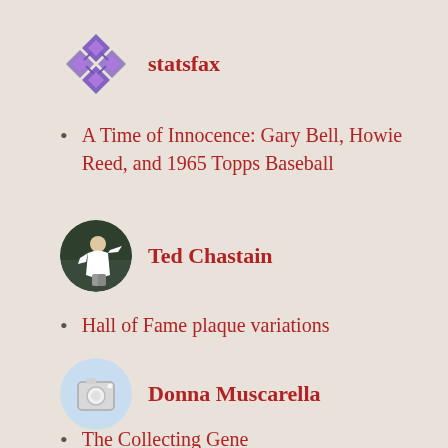[Figure (logo): statsfax user avatar - purple geometric quilt pattern circle]
statsfax
A Time of Innocence: Gary Bell, Howie Reed, and 1965 Topps Baseball
[Figure (photo): Ted Chastain user avatar - circular photo of baseball player pitching]
Ted Chastain
Hall of Fame plaque variations
[Figure (photo): Donna Muscarella user avatar - circular image of trophy/award on light blue background]
Donna Muscarella
The Collecting Gene
[Figure (logo): vat69er user avatar - blue and white geometric quilt pattern circle]
vat69er